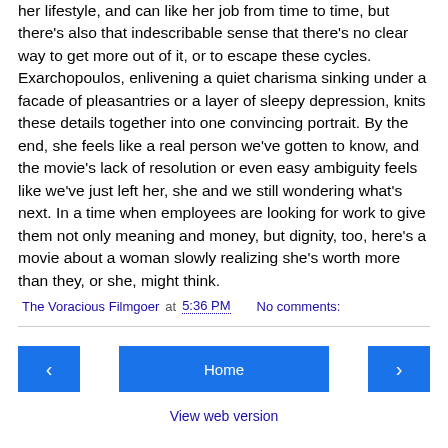her lifestyle, and can like her job from time to time, but there's also that indescribable sense that there's no clear way to get more out of it, or to escape these cycles. Exarchopoulos, enlivening a quiet charisma sinking under a facade of pleasantries or a layer of sleepy depression, knits these details together into one convincing portrait. By the end, she feels like a real person we've gotten to know, and the movie's lack of resolution or even easy ambiguity feels like we've just left her, she and we still wondering what's next. In a time when employees are looking for work to give them not only meaning and money, but dignity, too, here's a movie about a woman slowly realizing she's worth more than they, or she, might think.
The Voracious Filmgoer at 5:36 PM    No comments:
Home
View web version